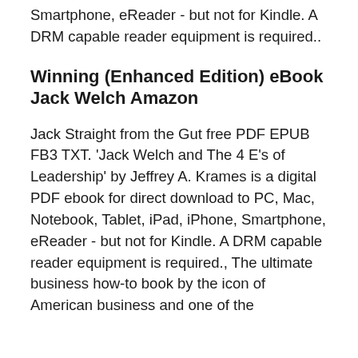Smartphone, eReader - but not for Kindle. A DRM capable reader equipment is required..
Winning (Enhanced Edition) eBook Jack Welch Amazon
Jack Straight from the Gut free PDF EPUB FB3 TXT. 'Jack Welch and The 4 E's of Leadership' by Jeffrey A. Krames is a digital PDF ebook for direct download to PC, Mac, Notebook, Tablet, iPad, iPhone, Smartphone, eReader - but not for Kindle. A DRM capable reader equipment is required., The ultimate business how-to book by the icon of American business and one of the